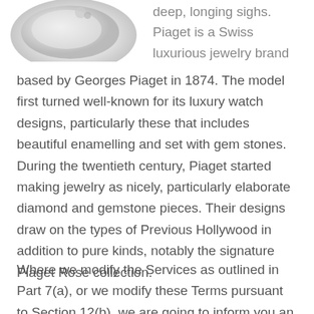[Figure (photo): Partial view of a silver jewelry piece, likely a ring or bracelet, on a white background]
deep, longing sighs. Piaget is a Swiss luxurious jewelry brand based by Georges Piaget in 1874. The model first turned well-known for its luxury watch designs, particularly these that includes beautiful enamelling and set with gem stones. During the twentieth century, Piaget started making jewelry as nicely, particularly elaborate diamond and gemstone pieces. Their designs draw on the types of Previous Hollywood in addition to pure kinds, notably the signature Piaget Rose collection.
Where we modify the Services as outlined in Part 7(a), or we modify these Terms pursuant to Section 12(b), we are going to inform you an inexpensive period of